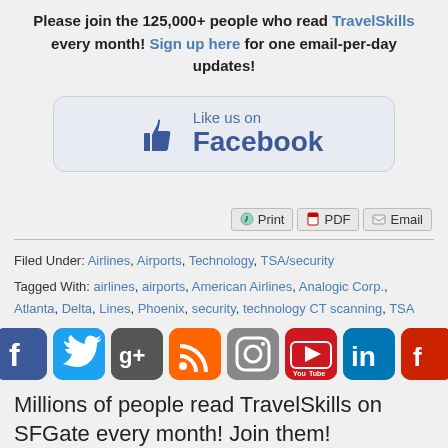Please join the 125,000+ people who read TravelSkills every month! Sign up here for one email-per-day updates!
[Figure (illustration): Facebook Like us on Facebook button with thumbs up icon]
[Figure (infographic): Print, PDF, Email share buttons]
Filed Under: Airlines, Airports, Technology, TSA/security
Tagged With: airlines, airports, American Airlines, Analogic Corp., Atlanta, Delta, Lines, Phoenix, security, technology CT scanning, TSA
[Figure (infographic): Social media icons: Facebook, Twitter, Google+, RSS, Instagram, YouTube, LinkedIn, Flipboard]
Millions of people read TravelSkills on SFGate every month! Join them!